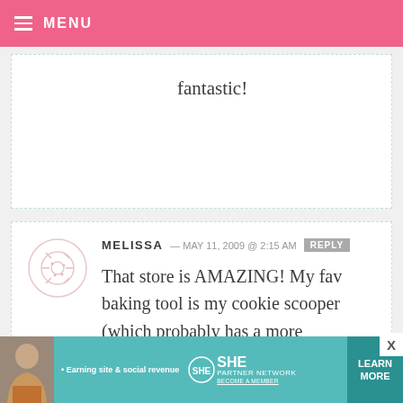MENU
fantastic!
MELISSA — MAY 11, 2009 @ 2:15 AM  REPLY
That store is AMAZING! My fav baking tool is my cookie scooper (which probably has a more professional name) .
[Figure (other): SHE Partner Network advertisement banner with woman photo, bullet point 'Earning site & social revenue', SHE logo, PARTNER NETWORK text, BECOME A MEMBER text, and LEARN MORE button]